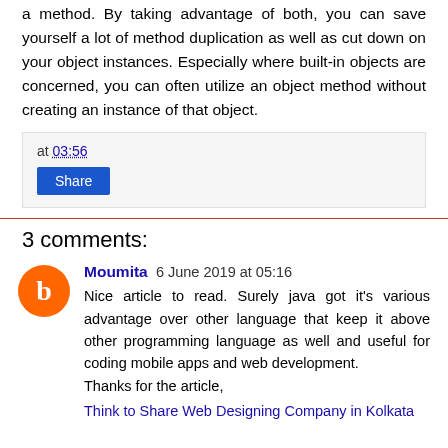a method. By taking advantage of both, you can save yourself a lot of method duplication as well as cut down on your object instances. Especially where built-in objects are concerned, you can often utilize an object method without creating an instance of that object.
at 03:56
Share
3 comments:
Moumita 6 June 2019 at 05:16
Nice article to read. Surely java got it's various advantage over other language that keep it above other programming language as well and useful for coding mobile apps and web development.
Thanks for the article,
Think to Share Web Designing Company in Kolkata